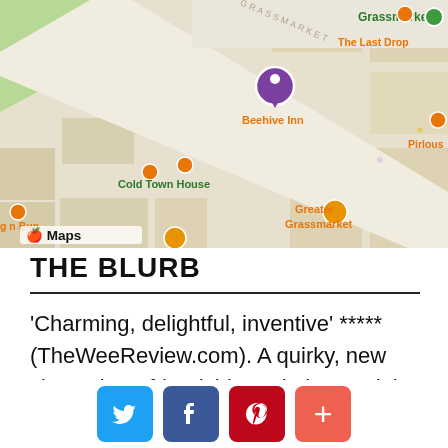[Figure (map): Apple Maps screenshot showing Grassmarket area in Edinburgh, Scotland. Visible landmarks include Grassmarket, Beehive Inn, The Last Drop, Cold Town House, Greater Grassmarket, Semper, g n Bun, Godiva Boutique, Mary's Milk Bar, Pirlous, Maison de Moggy, Granny's Green.]
THE BLURB
'Charming, delightful, inventive' ***** (TheWeeReview.com). A quirky, new show about friendship and play, and the importance of treasuring little things. Created by Andy Manley and Ian Cameron, co-creators of international hit show